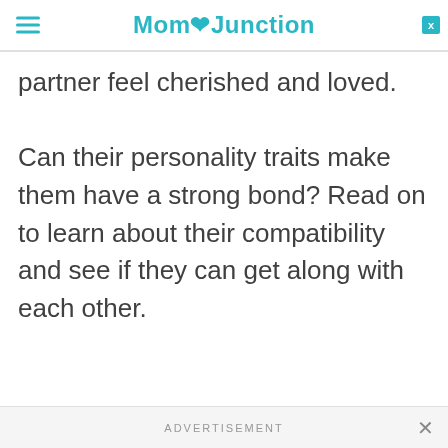MomJunction
partner feel cherished and loved. Can their personality traits make them have a strong bond? Read on to learn about their compatibility and see if they can get along with each other.
ADVERTISEMENT